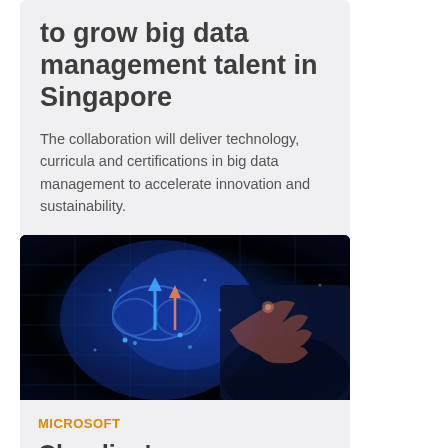to grow big data management talent in Singapore
The collaboration will deliver technology, curricula and certifications in big data management to accelerate innovation and sustainability.
[Figure (photo): Person in business attire pointing at a glowing digital cloud computing interface with data visualization elements on a dark blue background]
MICROSOFT
Cloudian's